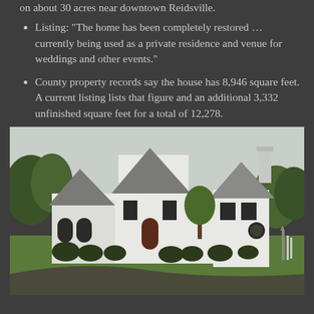The district consists of 22 buildings and structures on about 30 acres near downtown Reidsville.
Listing: "The home has been completely restored … currently being used as a private residence and venue for weddings and other events."
County property records say the house has 8,946 square feet. A current listing lists that figure and an additional 3,332 unfinished square feet for a total of 12,278.
[Figure (photo): Exterior photo of a large white Tudor-style manor house with multiple steep gabled roofs, a chimney, dark-trimmed windows, arched entries, surrounded by manicured green lawn, shrubs, and trees.]